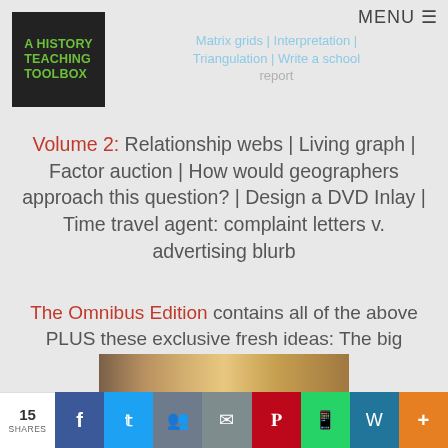A HISTORY TEACHING TOOLBOX | Matrix grids | Interpretation | Triangulation | Write a school report | MENU
Volume 2: Relationship webs | Living graph | Factor auction | How would geographers approach this question? | Design a DVD Inlay | Time travel agent: complaint letters v. advertising blurb
The Omnibus Edition contains all of the above PLUS these exclusive fresh ideas: The big picture | SMS dialogues
Chapter Six
[Figure (photo): Partial photograph visible at bottom of page, showing a person or scene, cropped]
15 SHARES | Facebook | Twitter | Google+ | Email | Pinterest | WhatsApp | WordPress | More